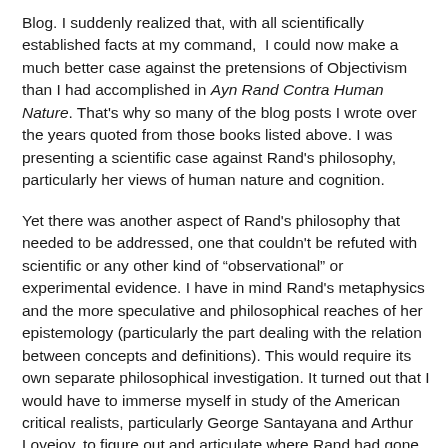Blog. I suddenly realized that, with all scientifically established facts at my command,  I could now make a much better case against the pretensions of Objectivism than I had accomplished in Ayn Rand Contra Human Nature. That's why so many of the blog posts I wrote over the years quoted from those books listed above. I was presenting a scientific case against Rand's philosophy, particularly her views of human nature and cognition.
Yet there was another aspect of Rand's philosophy that needed to be addressed, one that couldn't be refuted with scientific or any other kind of “observational” or experimental evidence. I have in mind Rand's metaphysics and the more speculative and philosophical reaches of her epistemology (particularly the part dealing with the relation between concepts and definitions). This would require its own separate philosophical investigation. It turned out that I would have to immerse myself in study of the American critical realists, particularly George Santayana and Arthur Lovejoy, to figure out and articulate where Rand had gone wrong in her metaphysical and epistemological speculations.